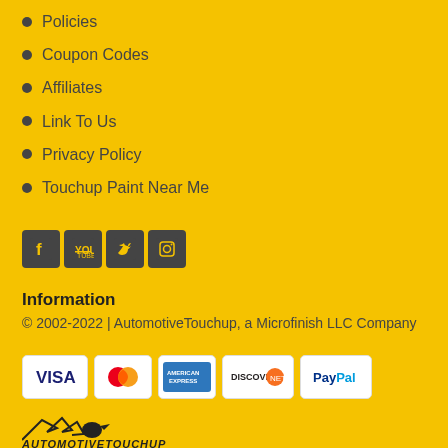Policies
Coupon Codes
Affiliates
Link To Us
Privacy Policy
Touchup Paint Near Me
[Figure (infographic): Social media icons: Facebook, YouTube, Twitter, Instagram]
Information
© 2002-2022 | AutomotiveTouchup, a Microfinish LLC Company
[Figure (infographic): Payment method logos: VISA, MasterCard, American Express, Discover, PayPal]
[Figure (logo): AutomotiveTouchup logo with winged bird graphic and brand name]